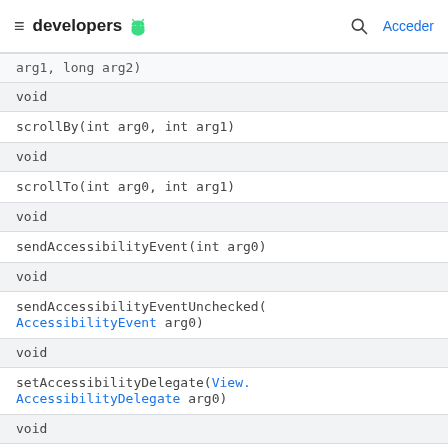developers [android icon] | Acceder
| arg1, long arg2) |
| void |
| scrollBy(int arg0, int arg1) |
| void |
| scrollTo(int arg0, int arg1) |
| void |
| sendAccessibilityEvent(int arg0) |
| void |
| sendAccessibilityEventUnchecked(AccessibilityEvent arg0) |
| void |
| setAccessibilityDelegate(View.AccessibilityDelegate arg0) |
| void |